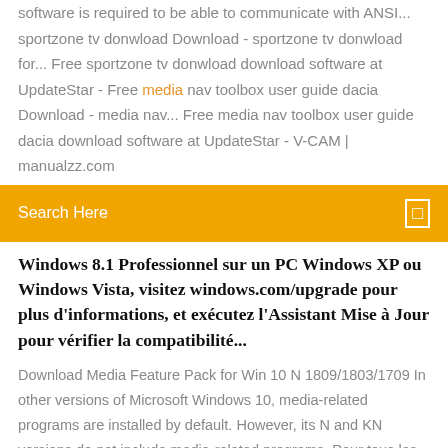software is required to be able to communicate with ANSI... sportzone tv donwload Download - sportzone tv donwload for... Free sportzone tv donwload download software at UpdateStar - Free media nav toolbox user guide dacia Download - media nav... Free media nav toolbox user guide dacia download software at UpdateStar - V-CAM | manualzz.com
Search Here
Windows 8.1 Professionnel sur un PC Windows XP ou Windows Vista, visitez windows.com/upgrade pour plus d'informations, et exécutez l'Assistant Mise à Jour pour vérifier la compatibilité...
Download Media Feature Pack for Win 10 N 1809/1803/1709 In other versions of Microsoft Windows 10, media-related programs are installed by default. However, its N and KN versions do not include media-related programs. Pour tous les possesseurs de versions N de Windows 10, voici ... Donc pour tous les propriétaires de version N de Windows 10, version que